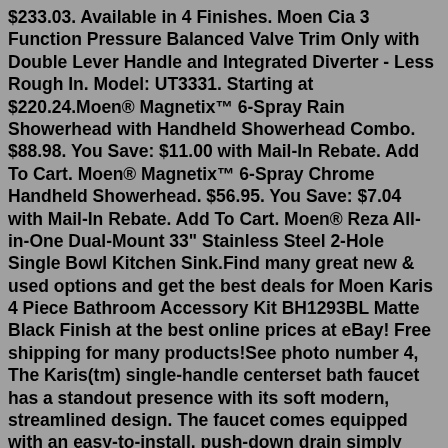$233.03. Available in 4 Finishes. Moen Cia 3 Function Pressure Balanced Valve Trim Only with Double Lever Handle and Integrated Diverter - Less Rough In. Model: UT3331. Starting at $220.24.Moen® Magnetix™ 6-Spray Rain Showerhead with Handheld Showerhead Combo. $88.98. You Save: $11.00 with Mail-In Rebate. Add To Cart. Moen® Magnetix™ 6-Spray Chrome Handheld Showerhead. $56.95. You Save: $7.04 with Mail-In Rebate. Add To Cart. Moen® Reza All-in-One Dual-Mount 33" Stainless Steel 2-Hole Single Bowl Kitchen Sink.Find many great new & used options and get the best deals for Moen Karis 4 Piece Bathroom Accessory Kit BH1293BL Matte Black Finish at the best online prices at eBay! Free shipping for many products!See photo number 4, The Karis(tm) single-handle centerset bath faucet has a standout presence with its soft modern, streamlined design. The faucet comes equipped with an easy-to-install, push-down drain simply press to seal and release. It also includes an option doled out to you want the best service with